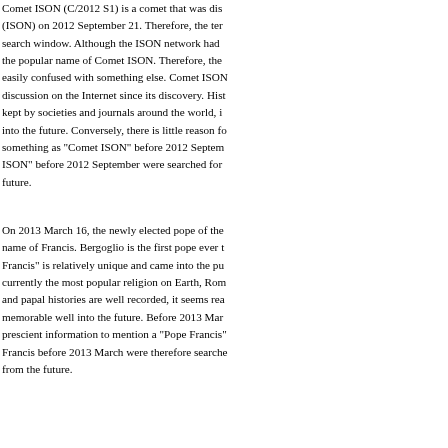Comet ISON (C/2012 S1) is a comet that was dis… (ISON) on 2012 September 21. Therefore, the ter… search window. Although the ISON network had … the popular name of Comet ISON. Therefore, the… easily confused with something else. Comet ISON… discussion on the Internet since its discovery. Hist… kept by societies and journals around the world, i… into the future. Conversely, there is little reason f… something as "Comet ISON" before 2012 Septem… ISON" before 2012 September were searched for … future.
On 2013 March 16, the newly elected pope of the… name of Francis. Bergoglio is the first pope ever t… Francis" is relatively unique and came into the pu… currently the most popular religion on Earth, Rom… and papal histories are well recorded, it seems rea… memorable well into the future. Before 2013 Mar… prescient information to mention a "Pope Francis"… Francis before 2013 March were therefore searche… from the future.